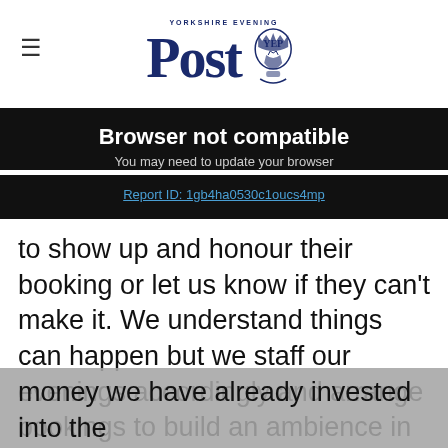Yorkshire Evening Post
Browser not compatible
You may need to update your browser
Report ID: 1gb4ha0530c1oucs4mp
to show up and honour their booking or let us know if they can't make it. We understand things can happen but we staff our evenings accordingly and arrange bookings to build an ambience in the restaurant.
"It's not only the customer not showing, it's the money we have already invested into the produce and time it has taken to make